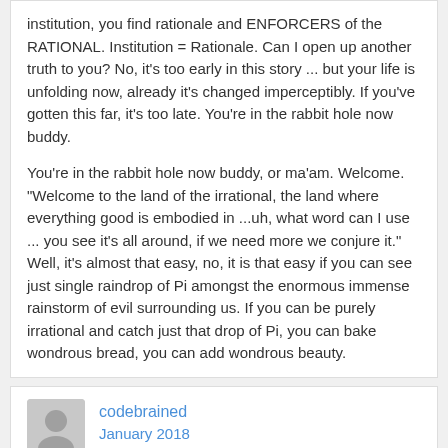institution, you find rationale and ENFORCERS of the RATIONAL. Institution = Rationale. Can I open up another truth to you? No, it's too early in this story ... but your life is unfolding now, already it's changed imperceptibly. If you've gotten this far, it's too late. You're in the rabbit hole now buddy.
You're in the rabbit hole now buddy, or ma'am. Welcome. "Welcome to the land of the irrational, the land where everything good is embodied in ...uh, what word can I use ... you see it's all around, if we need more we conjure it." Well, it's almost that easy, no, it is that easy if you can see just single raindrop of Pi amongst the enormous immense rainstorm of evil surrounding us. If you can be purely irrational and catch just that drop of Pi, you can bake wondrous bread, you can add wondrous beauty.
codebrained
January 2018
The bottom line ....
So the thesis is, if you can be purely irrational, not rationally